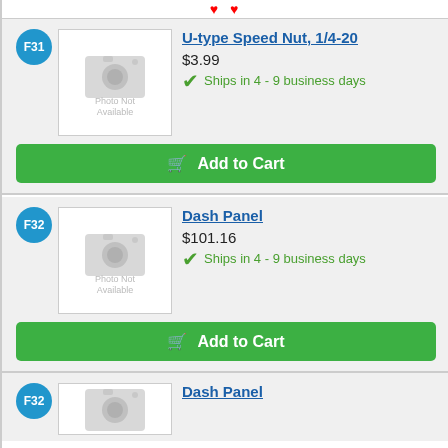[Figure (other): Two red heart icons at the top of the page]
F31
[Figure (photo): Photo Not Available placeholder image for U-type Speed Nut product]
U-type Speed Nut, 1/4-20
$3.99
Ships in 4 - 9 business days
Add to Cart
F32
[Figure (photo): Photo Not Available placeholder image for Dash Panel product]
Dash Panel
$101.16
Ships in 4 - 9 business days
Add to Cart
F32
Dash Panel